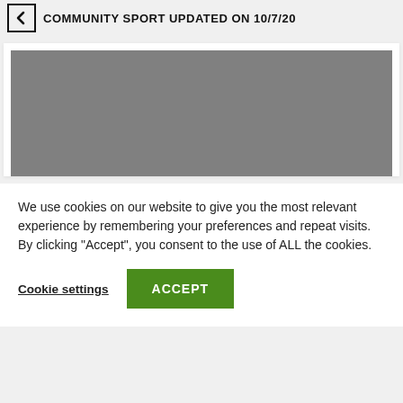COMMUNITY SPORT UPDATED ON 10/7/20
[Figure (other): Grey placeholder rectangle representing a video or image embed within a white card.]
We use cookies on our website to give you the most relevant experience by remembering your preferences and repeat visits. By clicking "Accept", you consent to the use of ALL the cookies.
Cookie settings   ACCEPT